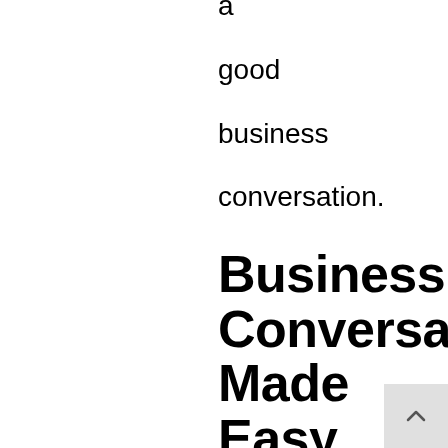a
good
business
conversation.
Business Conversations Made Easy
From
Ben